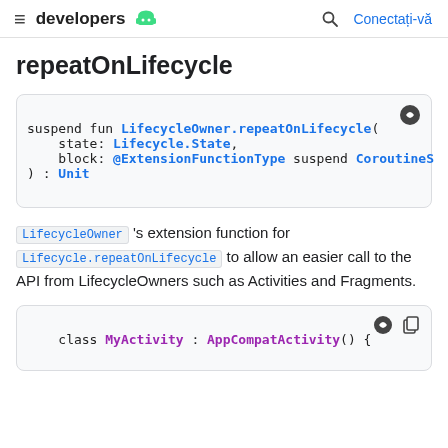≡ developers [android] 🔍 Conectați-vă
repeatOnLifecycle
[Figure (screenshot): Code block showing: suspend fun LifecycleOwner.repeatOnLifecycle( state: Lifecycle.State, block: @ExtensionFunctionType suspend CoroutineS ): Unit]
LifecycleOwner 's extension function for Lifecycle.repeatOnLifecycle to allow an easier call to the API from LifecycleOwners such as Activities and Fragments.
[Figure (screenshot): Code block showing: class MyActivity : AppCompatActivity() {]